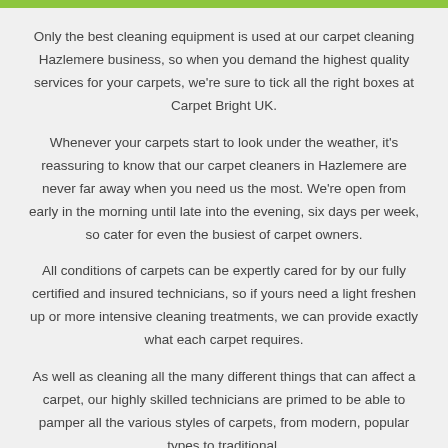Only the best cleaning equipment is used at our carpet cleaning Hazlemere business, so when you demand the highest quality services for your carpets, we're sure to tick all the right boxes at Carpet Bright UK.
Whenever your carpets start to look under the weather, it's reassuring to know that our carpet cleaners in Hazlemere are never far away when you need us the most. We're open from early in the morning until late into the evening, six days per week, so cater for even the busiest of carpet owners.
All conditions of carpets can be expertly cared for by our fully certified and insured technicians, so if yours need a light freshen up or more intensive cleaning treatments, we can provide exactly what each carpet requires.
As well as cleaning all the many different things that can affect a carpet, our highly skilled technicians are primed to be able to pamper all the various styles of carpets, from modern, popular types to traditional,